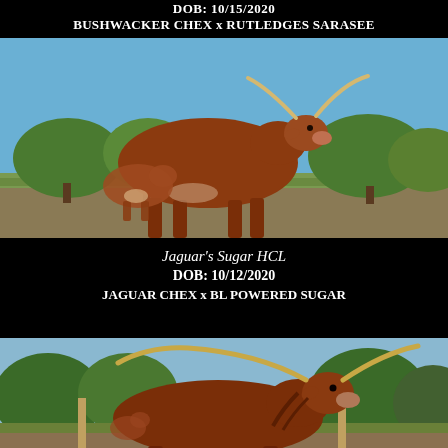DOB: 10/15/2020
BUSHWACKER CHEX x RUTLEDGES SARASEE
[Figure (photo): A red Texas Longhorn cow with large horns standing in a pasture, with a small calf visible behind her. Green grass and trees in background under blue sky.]
Jaguar's Sugar HCL
DOB: 10/12/2020
JAGUAR CHEX x BL POWERED SUGAR
[Figure (photo): A large red Texas Longhorn with very wide long horns standing in a show/fair setting. Trees and structures visible in background.]